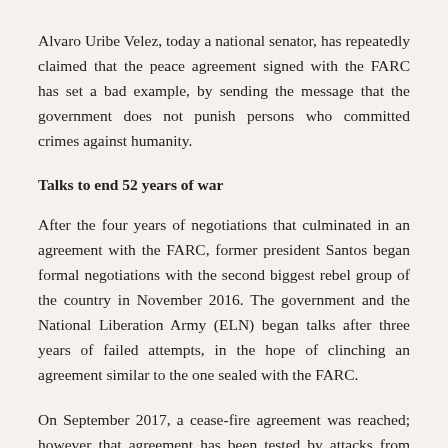Alvaro Uribe Velez, today a national senator, has repeatedly claimed that the peace agreement signed with the FARC has set a bad example, by sending the message that the government does not punish persons who committed crimes against humanity.
Talks to end 52 years of war
After the four years of negotiations that culminated in an agreement with the FARC, former president Santos began formal negotiations with the second biggest rebel group of the country in November 2016. The government and the National Liberation Army (ELN) began talks after three years of failed attempts, in the hope of clinching an agreement similar to the one sealed with the FARC.
On September 2017, a cease-fire agreement was reached; however that agreement has been tested by attacks from both sides.